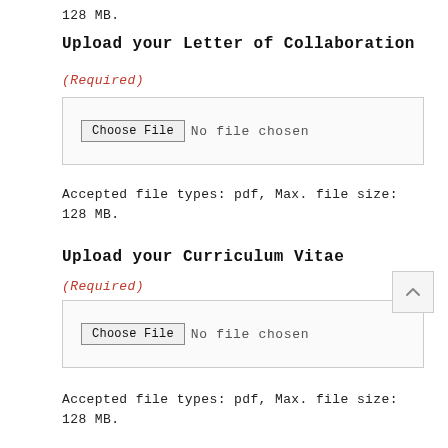128 MB.
Upload your Letter of Collaboration
(Required)
[Figure (screenshot): File upload widget showing 'Choose File' button and 'No file chosen' text inside a bordered box]
Accepted file types: pdf, Max. file size: 128 MB.
Upload your Curriculum Vitae
(Required)
[Figure (screenshot): File upload widget showing 'Choose File' button and 'No file chosen' text inside a bordered box]
Accepted file types: pdf, Max. file size: 128 MB.